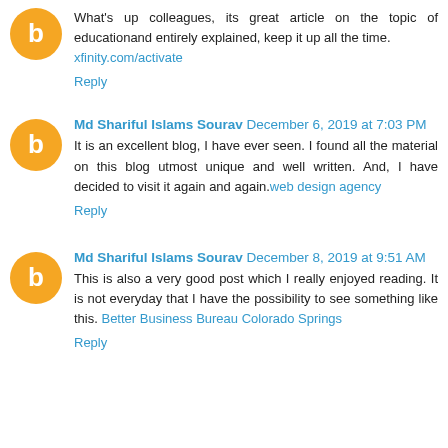What’s up colleagues, its great article on the topic of educationand entirely explained, keep it up all the time. xfinity.com/activate
Reply
Md Shariful Islams Sourav December 6, 2019 at 7:03 PM
It is an excellent blog, I have ever seen. I found all the material on this blog utmost unique and well written. And, I have decided to visit it again and again. web design agency
Reply
Md Shariful Islams Sourav December 8, 2019 at 9:51 AM
This is also a very good post which I really enjoyed reading. It is not everyday that I have the possibility to see something like this. Better Business Bureau Colorado Springs
Reply